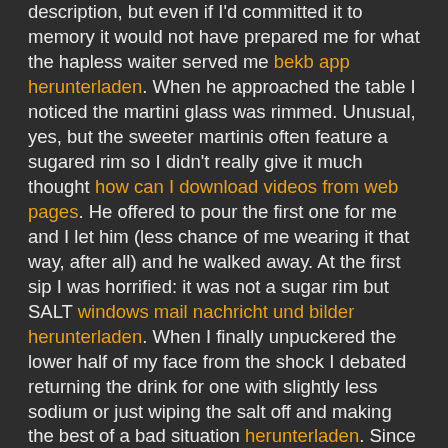description, but even if I'd committed it to memory it would not have prepared me for what the hapless waiter served me bekb app herunterladen. When he approached the table I noticed the martini glass was rimmed. Unusual, yes, but the sweeter martinis often feature a sugared rim so I didn't really give it much thought how can I download videos from web pages. He offered to pour the first one for me and I let him (less chance of me wearing it that way, after all) and he walked away. At the first sip I was horrified: it was not a sugar rim but SALT windows mail nachricht und bilder herunterladen. When I finally unpuckered the lower half of my face from the shock I debated returning the drink for one with slightly less sodium or just wiping the salt off and making the best of a bad situation herunterladen. Since the waiter took a bit to return, I went with the second option and was still trying to divide the salt from it's host when he did return.

Of course I asked him why on earth anyone would SALT the rim of a martini kostenlos musik downloaden samsung. To which he answered, well, it's actually a margarita. Pardon? He claimed that there really was only one pomegranate cocktail on their menu and it was a margarita office programme kostenlosen. Um, no, have a glance at the menu if you would. Now, what I don't see (nor had I